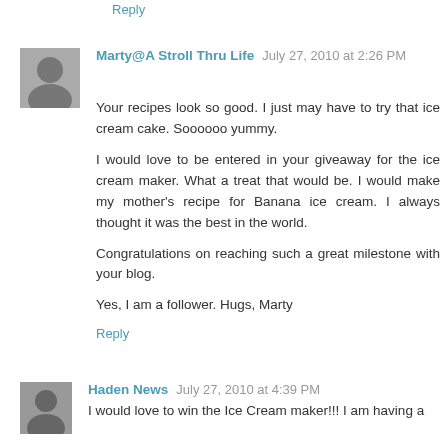Reply
Marty@A Stroll Thru Life July 27, 2010 at 2:26 PM
Your recipes look so good. I just may have to try that ice cream cake. Soooooo yummy.

I would love to be entered in your giveaway for the ice cream maker. What a treat that would be. I would make my mother's recipe for Banana ice cream. I always thought it was the best in the world.

Congratulations on reaching such a great milestone with your blog.

Yes, I am a follower. Hugs, Marty
Reply
Haden News July 27, 2010 at 4:39 PM
I would love to win the Ice Cream maker!!! I am having a